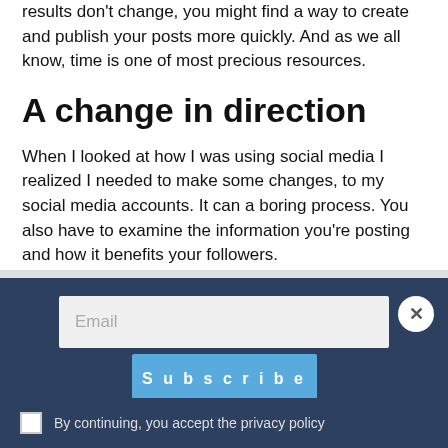results don't change, you might find a way to create and publish your posts more quickly.  And as we all know, time is one of most precious resources.
A change in direction
When I looked at how I was using social media I realized I needed to make some changes, to my social media accounts.  It can a boring process.  You also have to examine the information you're posting and how it benefits your followers.
I discovered that most of my posts were focused on selling.
[Figure (screenshot): Email subscription modal overlay with dark blue background, an email input field, a Subscribe button, a close (X) button, and a privacy policy checkbox.]